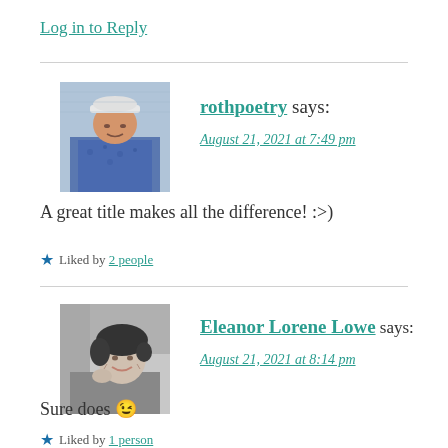Log in to Reply
[Figure (photo): Avatar photo of rothpoetry: older man in baseball cap and blue patterned shirt]
rothpoetry says:
August 21, 2021 at 7:49 pm
A great title makes all the difference! :>)
★ Liked by 2 people
[Figure (photo): Avatar photo of Eleanor Lorene Lowe: woman with dark curly hair, smiling, black and white photo]
Eleanor Lorene Lowe says:
August 21, 2021 at 8:14 pm
Sure does 😉
★ Liked by 1 person